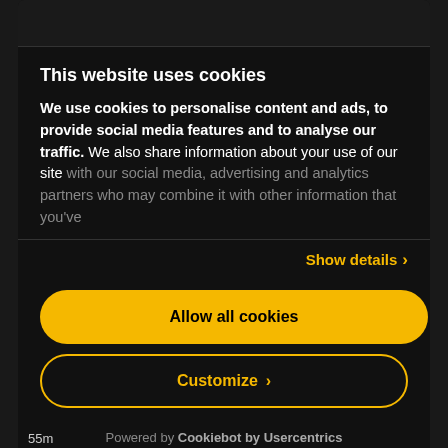This website uses cookies
We use cookies to personalise content and ads, to provide social media features and to analyse our traffic. We also share information about your use of our site with our social media, advertising and analytics partners who may combine it with other information that you've
Show details ›
Allow all cookies
Customize ›
Powered by Cookiebot by Usercentrics
55m